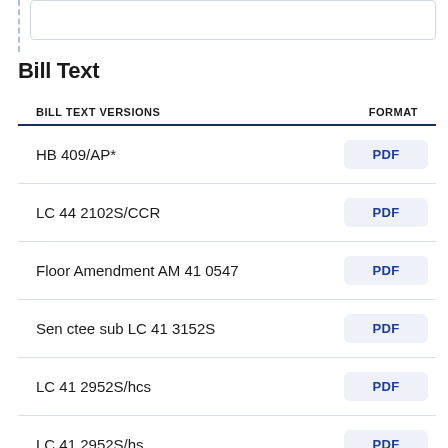Bill Text
| BILL TEXT VERSIONS | FORMAT |
| --- | --- |
| HB 409/AP* | PDF |
| LC 44 2102S/CCR | PDF |
| Floor Amendment AM 41 0547 | PDF |
| Sen ctee sub LC 41 3152S | PDF |
| LC 41 2952S/hcs | PDF |
| LC 41 2952S/hs | PDF |